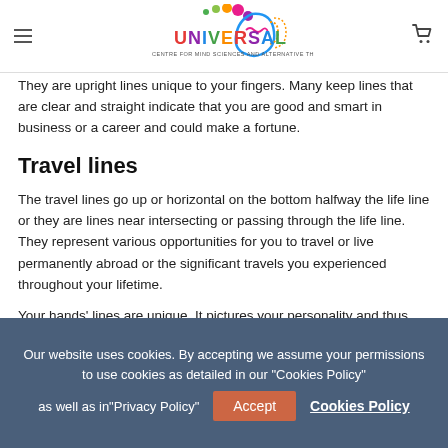Universal Centre for Mind Sciences and Alternative Therapies Ltd — navigation header
They are upright lines unique to your fingers. Many keep lines that are clear and straight indicate that you are good and smart in business or a career and could make a fortune.
Travel lines
The travel lines go up or horizontal on the bottom halfway the life line or they are lines near intersecting or passing through the life line. They represent various opportunities for you to travel or live permanently abroad or the significant travels you experienced throughout your lifetime.
Your hands' lines are unique. It pictures your personality and thus you can look forward and know what is best for you in
Our website uses cookies. By accepting we assume your permissions to use cookies as detailed in our "Cookies Policy" as well as in"Privacy Policy"